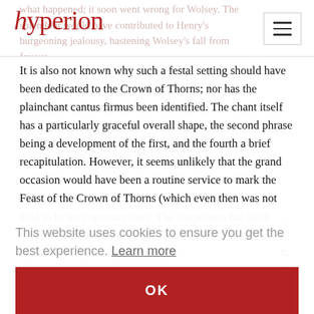hyperion
what happened; it soon went wrong for Wolsey. The splendour would have contributed to Henry's burgeoning jealousy, hastening Wolsey's fall from favour.
It is also not known why such a festal setting should have been dedicated to the Crown of Thorns; nor has the plainchant cantus firmus been identified. The chant itself has a particularly graceful overall shape, the second phrase being a development of the first, and the fourth a brief recapitulation. However, it seems unlikely that the grand occasion would have been a routine service to mark the Feast of the Crown of Thorns (which even then was not held to be an important one). The suggestion has been made (by Hugh Benham) that since Queen Catherine was known to be devoted to the cult of
This website uses cookies to ensure you get the best experience. Learn more
OK
within the vocal writing. Corona spinea is the longest of all